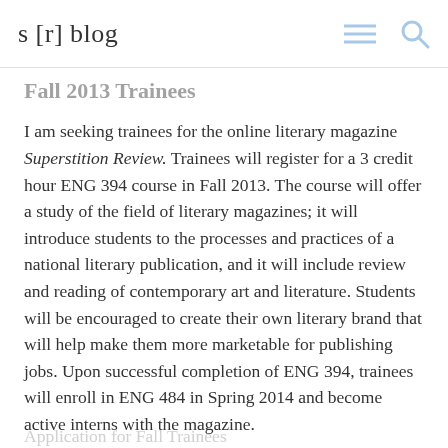s [r] blog
Fall 2013 Trainees
I am seeking trainees for the online literary magazine Superstition Review. Trainees will register for a 3 credit hour ENG 394 course in Fall 2013. The course will offer a study of the field of literary magazines; it will introduce students to the processes and practices of a national literary publication, and it will include review and reading of contemporary art and literature. Students will be encouraged to create their own literary brand that will help make them more marketable for publishing jobs. Upon successful completion of ENG 394, trainees will enroll in ENG 484 in Spring 2014 and become active interns with the magazine.
Application for Fall Trainees